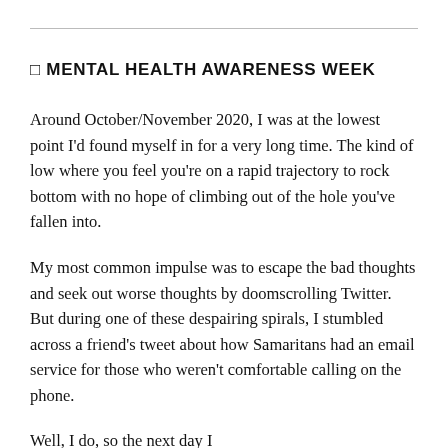🔲 MENTAL HEALTH AWARENESS WEEK
Around October/November 2020, I was at the lowest point I'd found myself in for a very long time. The kind of low where you feel you're on a rapid trajectory to rock bottom with no hope of climbing out of the hole you've fallen into.
My most common impulse was to escape the bad thoughts and seek out worse thoughts by doomscrolling Twitter. But during one of these despairing spirals, I stumbled across a friend's tweet about how Samaritans had an email service for those who weren't comfortable calling on the phone.
Well, I do, so the next day I...